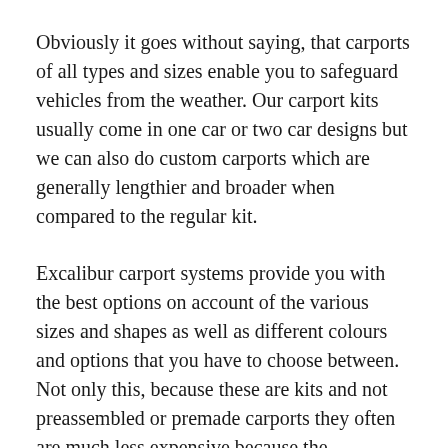Obviously it goes without saying, that carports of all types and sizes enable you to safeguard vehicles from the weather. Our carport kits usually come in one car or two car designs but we can also do custom carports which are generally lengthier and broader when compared to the regular kit.
Excalibur carport systems provide you with the best options on account of the various sizes and shapes as well as different colours and options that you have to choose between. Not only this, because these are kits and not preassembled or premade carports they often are much less expensive because the manufacturers aren't required to spend the